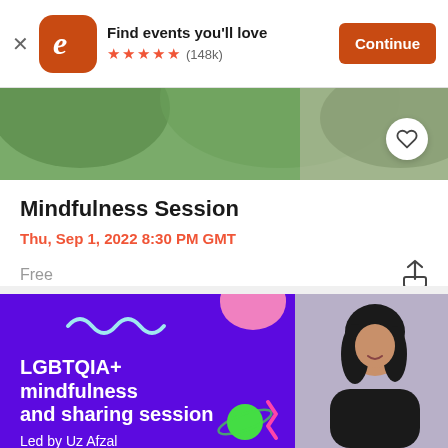Find events you'll love ★★★★★ (148k) Continue
[Figure (photo): Hero image showing green outdoor/nature scene with person]
Mindfulness Session
Thu, Sep 1, 2022 8:30 PM GMT
Free
[Figure (illustration): Purple banner for LGBTQIA+ mindfulness and sharing session, Led by Uz Afzal, Hosted by tofdo, with decorative shapes and photo of smiling woman with long dark hair]